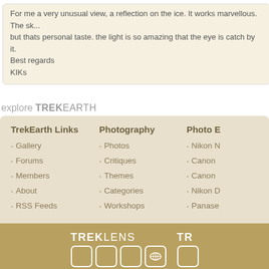For me a very unusual view, a reflection on the ice. It works marvellous. The sk... but thats personal taste. the light is so amazing that the eye is catch by it.
Best regards
KIKs
explore TREKEARTH
TrekEarth Links
Gallery
Forums
Members
About
RSS Feeds
Photography
Photos
Critiques
Themes
Categories
Workshops
Photo E...
Nikon ...
Canon ...
Canon ...
Nikon ...
Panase...
[Figure (logo): TREKLENS logo with square icon boxes]
[Figure (logo): TR... partial logo with square icon box]
Copyright © 2018 MH Sub I, LLC dba Internet Brands. All rig... Advertise | Privacy Po...